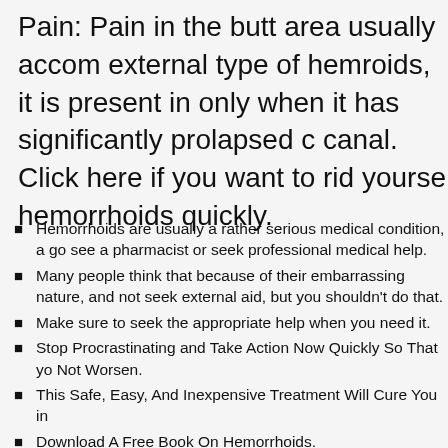Pain: Pain in the butt area usually accompanies the external type of hemroids, it is present in internal only when it has significantly prolapsed out of the anal canal. Click here if you want to rid yourself of hemorrhoids quickly.
Hemorrhoids are usually a rather serious medical condition, and you should go see a pharmacist or seek professional medical help.
Many people think that because of their embarrassing nature, they should try and not seek external aid, but you shouldn't do that.
Make sure to seek the appropriate help when you need it.
Stop Procrastinating and Take Action Now Quickly So That your Condition Does Not Worsen.
This Safe, Easy, And Inexpensive Treatment Will Cure You in Days!
Download A Free Book On Hemorrhoids.
Mohamad Ali is a pharmacist and also a great affiliate marketer.